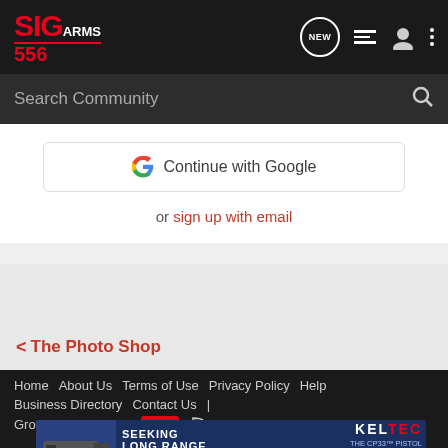[Figure (logo): SIG ARMS 556 logo in red and white on dark background with navigation icons]
Search Community
[Figure (screenshot): Continue with Google button and sign up with email option]
< The Photo Shop
Home  About Us  Terms of Use  Privacy Policy  Help  Business Directory  Contact Us  |  Grow Your Business  NEW  RSS
[Figure (photo): Kel-Tec CP33 pistol advertisement: SEEKING LONG RANGE RELATIONSHIP - Buy Now]